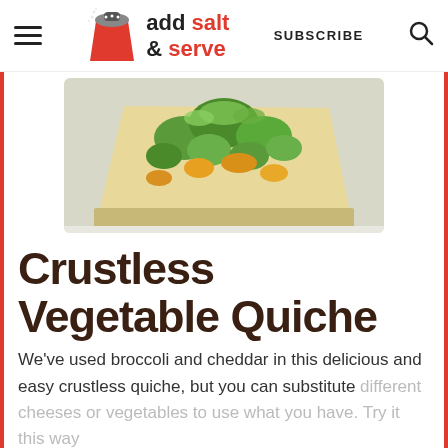add salt & serve — SUBSCRIBE
[Figure (photo): A slice of crustless vegetable quiche topped with broccoli and cheddar cheese, on a white plate]
Crustless Vegetable Quiche
We've used broccoli and cheddar in this delicious and easy crustless quiche, but you can substitute different cheeses or vegetables to use what you have. Try it this way